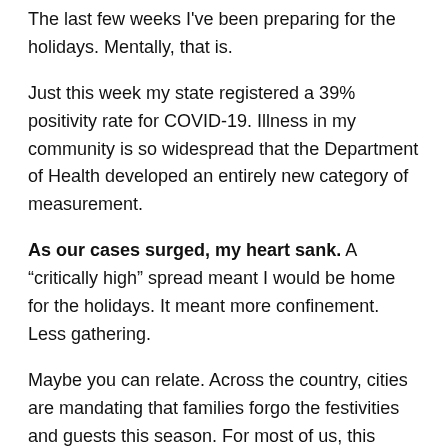The last few weeks I've been preparing for the holidays. Mentally, that is.
Just this week my state registered a 39% positivity rate for COVID-19. Illness in my community is so widespread that the Department of Health developed an entirely new category of measurement.
As our cases surged, my heart sank. A “critically high” spread meant I would be home for the holidays. It meant more confinement. Less gathering.
Maybe you can relate. Across the country, cities are mandating that families forgo the festivities and guests this season. For most of us, this holiday promises to be different. Complex. Confusing and discouraging. Continue reading →